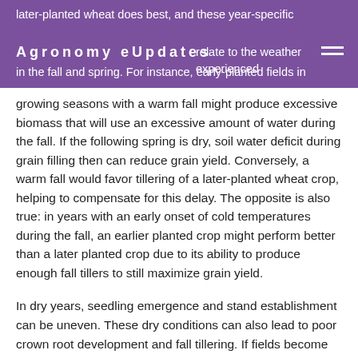Agronomy eUpdates
later-planted wheat does best, and these year-specific performances really relate to the weather experienced in the fall and spring. For instance, early-planted fields in growing seasons with a warm fall might produce excessive biomass that will use an excessive amount of water during the fall. If the following spring is dry, soil water deficit during grain filling then can reduce grain yield. Conversely, a warm fall would favor tillering of a later-planted wheat crop, helping to compensate for this delay. The opposite is also true: in years with an early onset of cold temperatures during the fall, an earlier planted crop might perform better than a later planted crop due to its ability to produce enough fall tillers to still maximize grain yield.
In dry years, seedling emergence and stand establishment can be uneven. These dry conditions can also lead to poor crown root development and fall tillering. If fields become too wet to plant by mid-